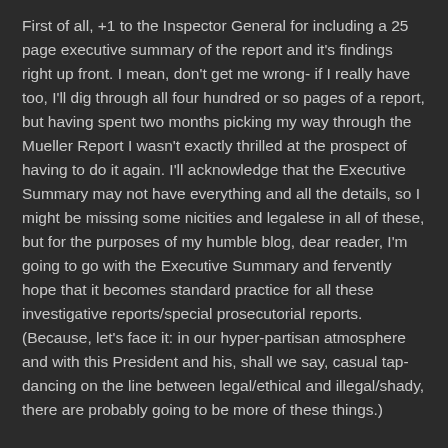First of all, +1 to the Inspector General for including a 25 page executive summary of the report and it's findings right up front. I mean, don't get me wrong- if I really have too, I'll dig through all four hundred or so pages of a report, but having spent two months picking my way through the Mueller Report I wasn't exactly thrilled at the prospect of having to do it again. I'll acknowledge that the Executive Summary may not have everything and all the details, so I might be missing some nicities and legalese in all of these, but for the purposes of my humble blog, dear reader, I'm going to go with the Executive Summary and fervently hope that it becomes standard practice for all these investigative reports/special prosecutorial reports. (Because, let's face it: in our hyper-partisan atmosphere and with this President and his, shall we say, casual tap-dancing on the line between legal/ethical and illegal/shady, there are probably going to be more of these things.)
So, there's really three aspects we want to break down here-